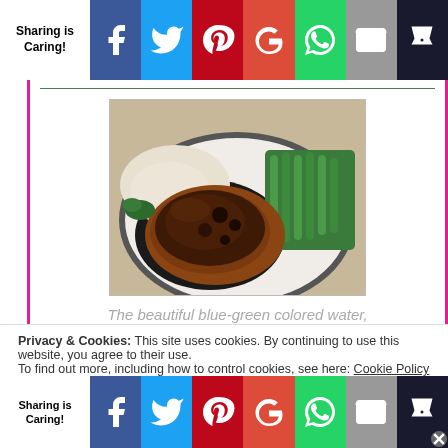Sharing is Caring! [social share bar with Facebook, Twitter, Pinterest, Google+, WhatsApp, Email, Crown icons]
[Figure (photo): A cooked meat dish (steak/chop) with mashed potatoes and green beans on a white plate]
The beautiful blue-green colored water,
Privacy & Cookies: This site uses cookies. By continuing to use this website, you agree to their use. To find out more, including how to control cookies, see here: Cookie Policy
Sharing is Caring! [social share bar with Facebook, Twitter, Pinterest, Google+, WhatsApp, Email, Crown icons]